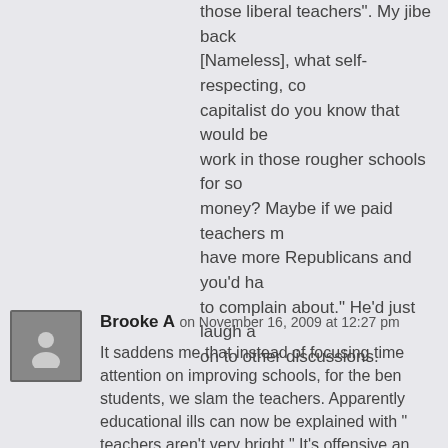those liberal teachers". My jibe back [Nameless], what self-respecting, co capitalist do you know that would be work in those rougher schools for so money? Maybe if we paid teachers m have more Republicans and you’d ha to complain about.” He’d just laugh a on to other discussions.
Brooke A on November 16, 2009 at 12:27 pm

It saddens me that instead of focusing time attention on improving schools, for the ben students, we slam the teachers. Apparently educational ills can now be explained with “ teachers aren’t very bright.” It’s offensive an productive.